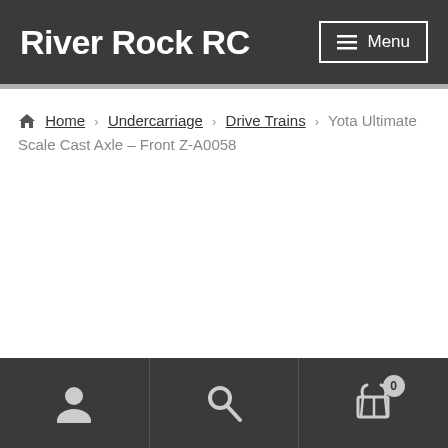River Rock RC
Home › Undercarriage › Drive Trains › Yota Ultimate Scale Cast Axle – Front Z-A0058
[Figure (screenshot): Website footer navigation bar with three sections: user/account icon, search icon, and shopping cart icon with badge showing 0 items]
User account | Search | Cart (0)